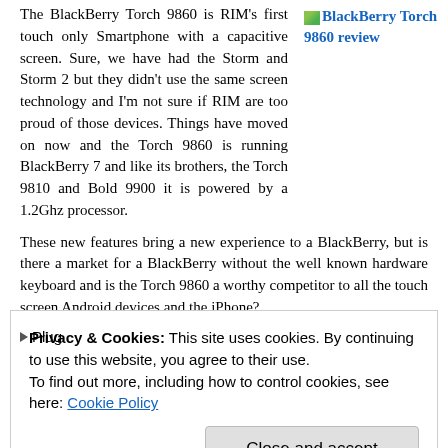The BlackBerry Torch 9860 is RIM's first touch only Smartphone with a capacitive screen. Sure, we have had the Storm and Storm 2 but they didn't use the same screen technology and I'm not sure if RIM are too proud of those devices. Things have moved on now and the Torch 9860 is running BlackBerry 7 and like its brothers, the Torch 9810 and Bold 9900 it is powered by a 1.2Ghz processor.
[Figure (photo): BlackBerry Torch 9860 review link with small thumbnail image]
These new features bring a new experience to a BlackBerry, but is there a market for a BlackBerry without the well known hardware keyboard and is the Torch 9860 a worthy competitor to all the touch screen Android devices and the iPhone?
You will have to read on for my verdict.
Privacy & Cookies: This site uses cookies. By continuing to use this website, you agree to their use.
To find out more, including how to control cookies, see here: Cookie Policy
Close and accept
Plug